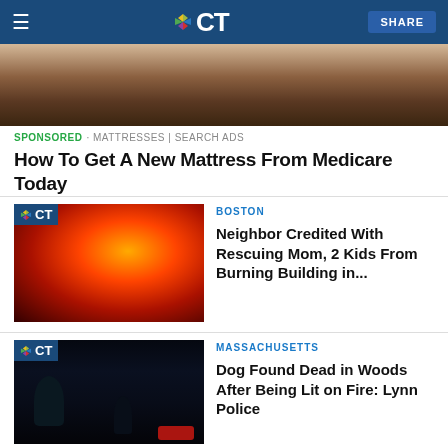NBC CT — SHARE
[Figure (photo): Close-up of mattress/carpet texture]
SPONSORED · MATTRESSES | SEARCH ADS
How To Get A New Mattress From Medicare Today
[Figure (photo): Firefighters battling a large building fire at night with intense orange flames and smoke]
BOSTON
Neighbor Credited With Rescuing Mom, 2 Kids From Burning Building in...
[Figure (photo): Dark nighttime exterior scene of a building with trees and parked cars, Lynn area]
MASSACHUSETTS
Dog Found Dead in Woods After Being Lit on Fire: Lynn Police